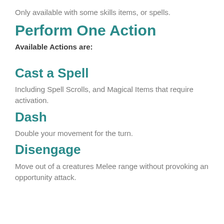Only available with some skills items, or spells.
Perform One Action
Available Actions are:
Cast a Spell
Including Spell Scrolls, and Magical Items that require activation.
Dash
Double your movement for the turn.
Disengage
Move out of a creatures Melee range without provoking an opportunity attack.